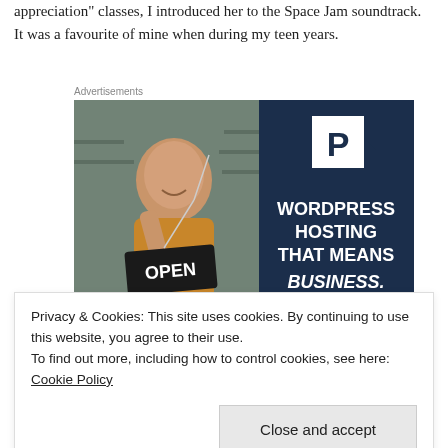appreciation" classes, I introduced her to the Space Jam soundtrack. It was a favourite of mine when during my teen years.
Advertisements
[Figure (photo): WordPress Hosting advertisement showing a smiling woman holding an OPEN sign, with text: WORDPRESS HOSTING THAT MEANS BUSINESS.]
Privacy & Cookies: This site uses cookies. By continuing to use this website, you agree to their use.
To find out more, including how to control cookies, see here: Cookie Policy
Close and accept